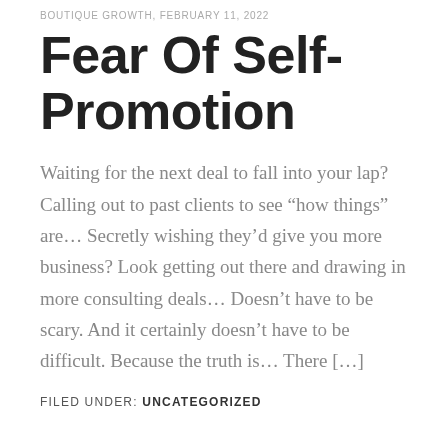BOUTIQUE GROWTH, FEBRUARY 11, 2022
Fear Of Self-Promotion
Waiting for the next deal to fall into your lap? Calling out to past clients to see “how things” are… Secretly wishing they’d give you more business? Look getting out there and drawing in more consulting deals… Doesn’t have to be scary. And it certainly doesn’t have to be difficult. Because the truth is… There […]
FILED UNDER: UNCATEGORIZED